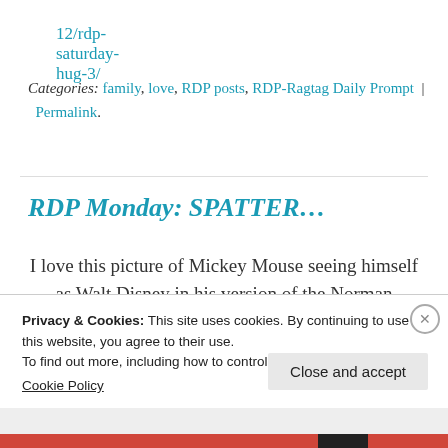12/rdp-saturday-hug-3/
Categories: family, love, RDP posts, RDP-Ragtag Daily Prompt | Permalink.
RDP Monday: SPATTER...
I love this picture of Mickey Mouse seeing himself as Walt Disney in his version of the Norman Rockwell self portrait. I did this in counted cross stitch and when it came time to have it framed the...
Privacy & Cookies: This site uses cookies. By continuing to use this website, you agree to their use.
To find out more, including how to control cookies, see here:
Cookie Policy